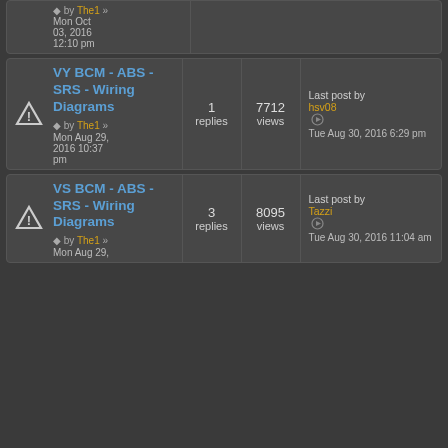by The1 » Mon Oct 03, 2016 12:10 pm
VY BCM - ABS - SRS - Wiring Diagrams by The1 » Mon Aug 29, 2016 10:37 pm | 1 replies | 7712 views | Last post by hsv08 Tue Aug 30, 2016 6:29 pm
VS BCM - ABS - SRS - Wiring Diagrams by The1 » Mon Aug 29, 2016 | 3 replies | 8095 views | Last post by Tazzi Tue Aug 30, 2016 11:04 am